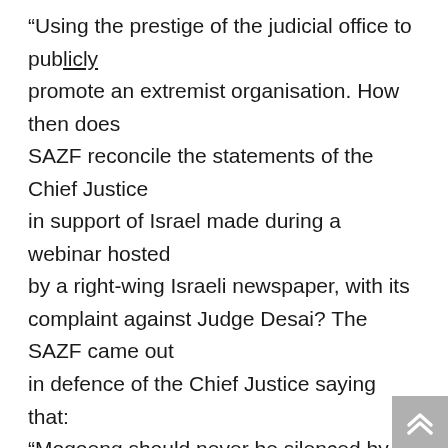“Using the prestige of the judicial office to publicly promote an extremist organisation. How then does SAZF reconcile the statements of the Chief Justice in support of Israel made during a webinar hosted by a right-wing Israeli newspaper, with its complaint against Judge Desai? The SAZF came out in defence of the Chief Justice saying that: “Mogoeng should never be silenced by intimidatory exploits…”
Do the statements of the Chief Justice not undermine the prestige of his office? Does his support for Israel not endorse colonialization, occupation and support for two legal systems for two ethnic races? When an Israeli turned on...